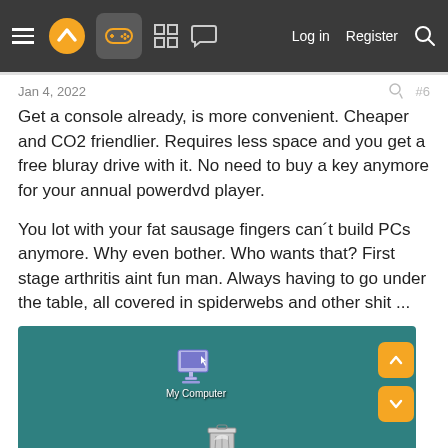Navigation bar with menu, logo, gamepad icon, grid icon, chat icon, Log in, Register, Search
Jan 4, 2022   #6
Get a console already, is more convenient. Cheaper and CO2 friendlier. Requires less space and you get a free bluray drive with it. No need to buy a key anymore for your annual powerdvd player.

You lot with your fat sausage fingers can´t build PCs anymore. Why even bother. Who wants that? First stage arthritis aint fun man. Always having to go under the table, all covered in spiderwebs and other shit ...
[Figure (screenshot): Screenshot of a Windows desktop (teal background) showing a My Computer icon with cursor and a Recycle Bin icon at the bottom. Navigation scroll buttons (up/down orange arrows) appear on the right side.]